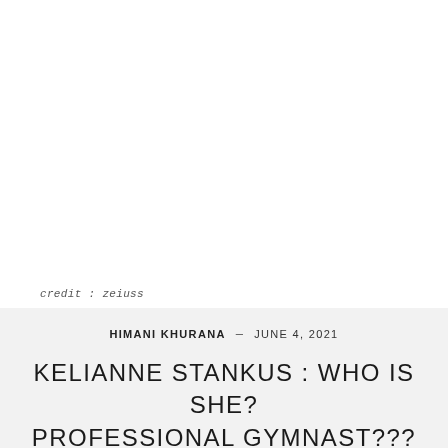[Figure (photo): White/blank image area at top of page]
credit : zeiuss
HIMANI KHURANA  –  JUNE 4, 2021
KELIANNE STANKUS : WHO IS SHE? PROFESSIONAL GYMNAST??? TIK TOK JOURNEY | BOYFRIEND RELATIONSHIP